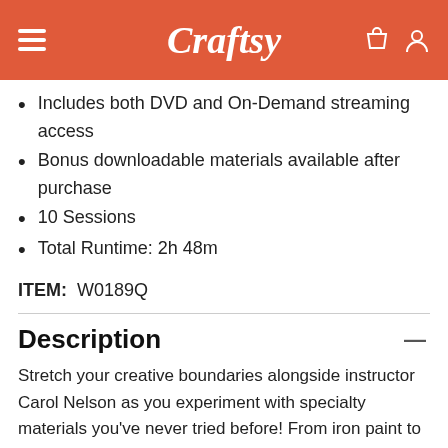Craftsy
Includes both DVD and On-Demand streaming access
Bonus downloadable materials available after purchase
10 Sessions
Total Runtime: 2h 48m
ITEM:  W0189Q
Description
Stretch your creative boundaries alongside instructor Carol Nelson as you experiment with specialty materials you've never tried before! From iron paint to flaming foil, enrich your art through texture and dimension, and create your most unique work yet.
NOTE: If you'd like to purchase only the DVD for the class, you may do so through this link. (Please note, any class PDF materials are not on the DVD itself. You must